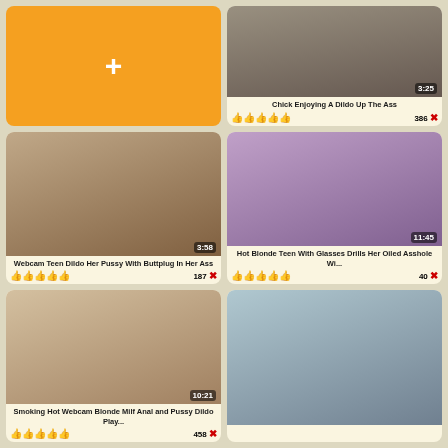[Figure (screenshot): Orange add/plus button card]
[Figure (screenshot): Video thumbnail - Webcam Teen Dildo Her Pussy With Buttplug In Her Ass, duration 3:58]
Webcam Teen Dildo Her Pussy With Buttplug In Her Ass
187
[Figure (screenshot): Video thumbnail - Chick Enjoying A Dildo Up The Ass, duration 3:25]
Chick Enjoying A Dildo Up The Ass
386
[Figure (screenshot): Video thumbnail - Smoking Hot Webcam Blonde Milf Anal and Pussy Dildo Play..., duration 10:21]
Smoking Hot Webcam Blonde Milf Anal and Pussy Dildo Play...
458
[Figure (screenshot): Video thumbnail - Hot Blonde Teen With Glasses Drills Her Oiled Asshole Wi..., duration 11:45]
Hot Blonde Teen With Glasses Drills Her Oiled Asshole Wi...
40
[Figure (screenshot): Video thumbnail - partially visible at bottom left]
[Figure (screenshot): Video thumbnail - partially visible at bottom right]